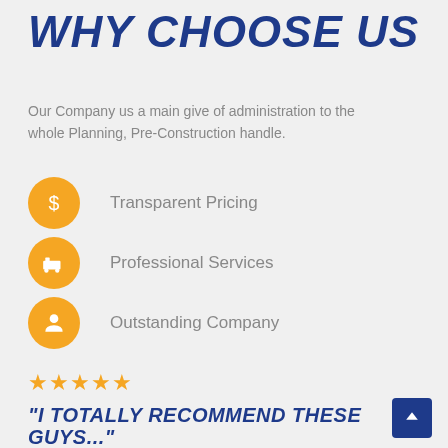WHY CHOOSE US
Our Company us a main give of administration to the whole Planning, Pre-Construction handle.
Transparent Pricing
Professional Services
Outstanding Company
★★★★★
"I TOTALLY RECOMMEND THESE GUYS..."